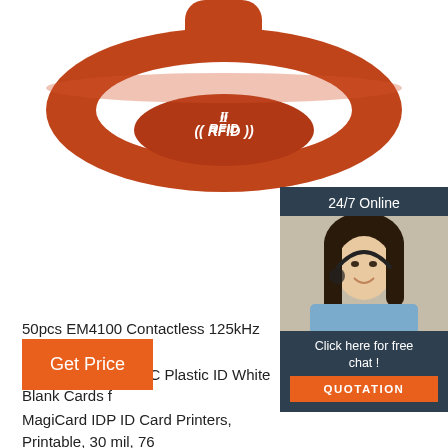[Figure (photo): Orange/red RFID silicone wristband with white '(( RFID ))' text on the face, photographed against white background]
[Figure (photo): Customer service sidebar widget: dark navy background with '24/7 Online' header, photo of smiling woman with headset, 'Click here for free chat!' text, and orange 'QUOTATION' button]
50pcs EM4100 Contactless 125kHz RFID Proximity Premier Quality PVC Plastic ID White Blank Cards f MagiCard IDP ID Card Printers, Printable, 30 mil, 76 (Credit Card Size), 104523-111, ...
[Figure (other): Orange 'Get Price' button]
[Figure (logo): Orange 'TOP' logo with dot triangle above the word TOP]